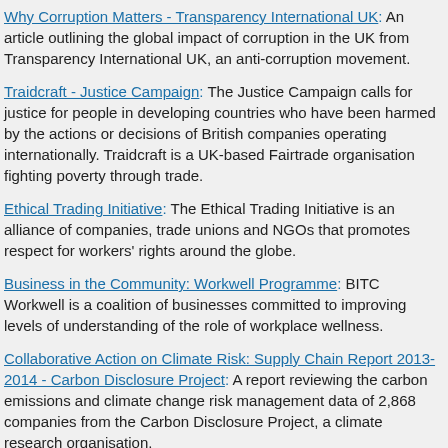Why Corruption Matters - Transparency International UK: An article outlining the global impact of corruption in the UK from Transparency International UK, an anti-corruption movement.
Traidcraft - Justice Campaign: The Justice Campaign calls for justice for people in developing countries who have been harmed by the actions or decisions of British companies operating internationally. Traidcraft is a UK-based Fairtrade organisation fighting poverty through trade.
Ethical Trading Initiative: The Ethical Trading Initiative is an alliance of companies, trade unions and NGOs that promotes respect for workers' rights around the globe.
Business in the Community: Workwell Programme: BITC Workwell is a coalition of businesses committed to improving levels of understanding of the role of workplace wellness.
Collaborative Action on Climate Risk: Supply Chain Report 2013-2014 - Carbon Disclosure Project: A report reviewing the carbon emissions and climate change risk management data of 2,868 companies from the Carbon Disclosure Project, a climate research organisation.